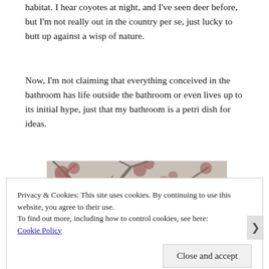habitat. I hear coyotes at night, and I've seen deer before, but I'm not really out in the country per se, just lucky to butt up against a wisp of nature.
Now, I'm not claiming that everything conceived in the bathroom has life outside the bathroom or even lives up to its initial hype, just that my bathroom is a petri dish for ideas.
[Figure (photo): A misty, foggy outdoor scene with bare trees and some red/orange foliage visible through the haze. A path or clearing is visible in the background.]
Privacy & Cookies: This site uses cookies. By continuing to use this website, you agree to their use.
To find out more, including how to control cookies, see here: Cookie Policy
Close and accept